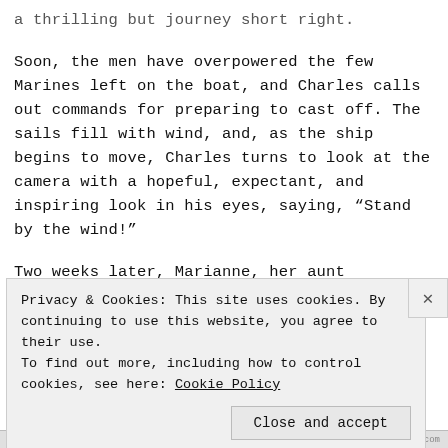a thrilling but journey short right. Soon, the men have overpowered the few Marines left on the boat, and Charles calls out commands for preparing to cast off. The sails fill with wind, and, as the ship begins to move, Charles turns to look at the camera with a hopeful, expectant, and inspiring look in his eyes, saying, “Stand by the wind!”
Two weeks later, Marianne, her aunt
Privacy & Cookies: This site uses cookies. By continuing to use this website, you agree to their use. To find out more, including how to control cookies, see here: Cookie Policy